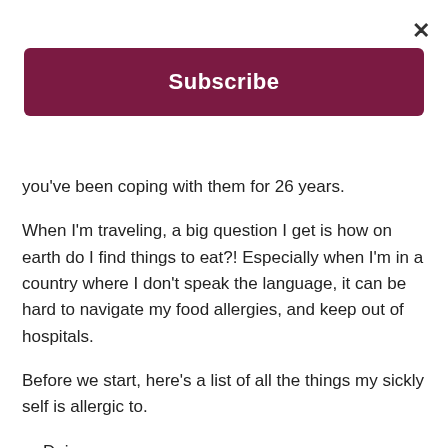Subscribe
you’ve been coping with them for 26 years.
When I’m traveling, a big question I get is how on earth do I find things to eat?! Especially when I’m in a country where I don’t speak the language, it can be hard to navigate my food allergies, and keep out of hospitals.
Before we start, here’s a list of all the things my sickly self is allergic to.
Dairy
Soy (technically, but I’m growing out of this one)